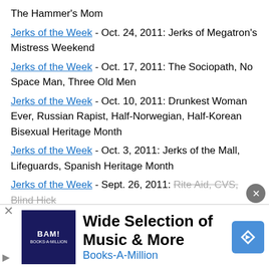The Hammer's Mom
Jerks of the Week - Oct. 24, 2011: Jerks of Megatron's Mistress Weekend
Jerks of the Week - Oct. 17, 2011: The Sociopath, No Space Man, Three Old Men
Jerks of the Week - Oct. 10, 2011: Drunkest Woman Ever, Russian Rapist, Half-Norwegian, Half-Korean Bisexual Heritage Month
Jerks of the Week - Oct. 3, 2011: Jerks of the Mall, Lifeguards, Spanish Heritage Month
Jerks of the Week - Sept. 26, 2011: Rite Aid, CVS, Blind Hick
Jerks of the Week - Sept. 19, 2011: [partially obscured] Coffee Queen
Jerks of the Week - Sept. 12, 2011: [partially obscured]
[Figure (screenshot): Black video player overlay with close button (X) and loading spinner circle]
[Figure (advertisement): Books-A-Million ad: BAM! logo, 'Wide Selection of Music & More', 'Books-A-Million' in blue, navigation icon]